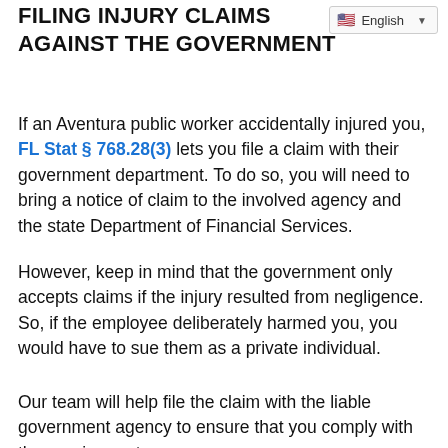FILING INJURY CLAIMS AGAINST THE GOVERNMENT
If an Aventura public worker accidentally injured you, FL Stat § 768.28(3) lets you file a claim with their government department. To do so, you will need to bring a notice of claim to the involved agency and the state Department of Financial Services.
However, keep in mind that the government only accepts claims if the injury resulted from negligence. So, if the employee deliberately harmed you, you would have to sue them as a private individual.
Our team will help file the claim with the liable government agency to ensure that you comply with the requirements.